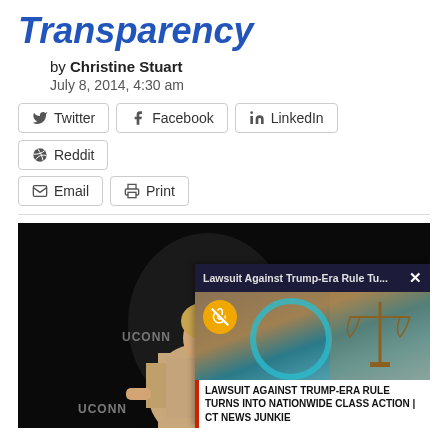Transparency
by Christine Stuart
July 8, 2014, 4:30 am
[Figure (other): Social share buttons: Twitter, Facebook, LinkedIn, Reddit, Email, Print]
[Figure (photo): Photo of a woman speaking at a UCONN event, with an ad overlay popup showing 'Lawsuit Against Trump-Era Rule Tu...' and text 'LAWSUIT AGAINST TRUMP-ERA RULE TURNS INTO NATIONWIDE CLASS ACTION | CT NEWS JUNKIE']